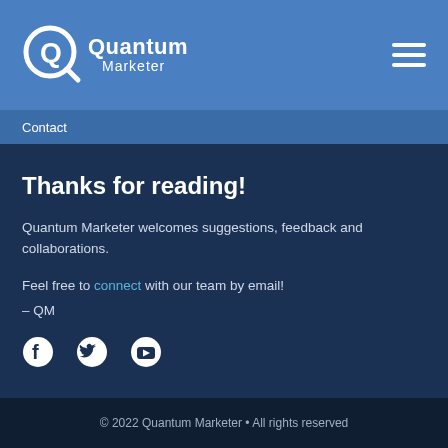Quantum Marketer
Contact
Thanks for reading!
Quantum Marketer welcomes suggestions, feedback and collaborations.
Feel free to connect with our team by email!
– QM
[Figure (illustration): Social media icons: Facebook, Twitter, YouTube]
© 2022 Quantum Marketer • All rights reserved